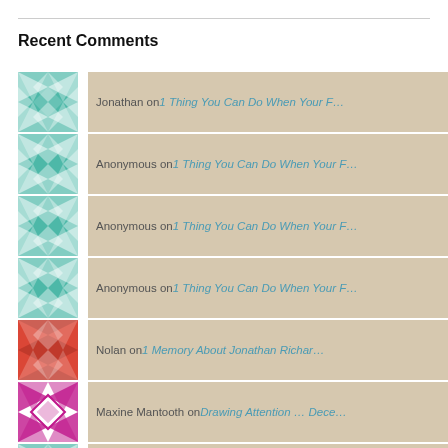Recent Comments
Jonathan on 1 Thing You Can Do When Your F…
Anonymous on 1 Thing You Can Do When Your F…
Anonymous on 1 Thing You Can Do When Your F…
Anonymous on 1 Thing You Can Do When Your F…
Nolan on 1 Memory About Jonathan Richar…
Maxine Mantooth on Drawing Attention … Dece…
Steve on From the Stacks … Octobe…